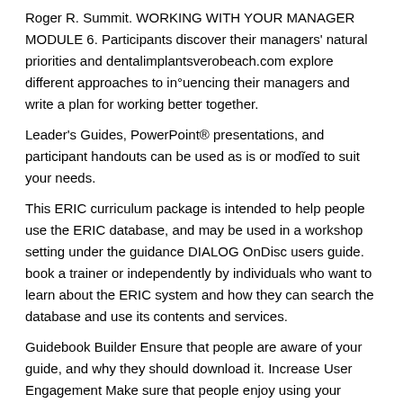Roger R. Summit. WORKING WITH YOUR MANAGER MODULE 6. Participants discover their managers' natural priorities and dentalimplantsverobeach.com explore different approaches to in°uencing their managers and write a plan for working better together.
Leader's Guides, PowerPoint® presentations, and participant handouts can be used as is or modi˜ed to suit your needs.
This ERIC curriculum package is intended to help people use the ERIC database, and may be used in a workshop setting under the guidance DIALOG OnDisc users guide. book a trainer or independently by individuals who want to learn about the ERIC system and how they can search the database and use its contents and services.
Guidebook Builder Ensure that people are aware of your guide, and why they should download it. Increase User Engagement Make sure that people enjoy using your guide, and keep coming back to it. Organize Your Guide Make sure your guide is well-thought-out and easy to navigate.